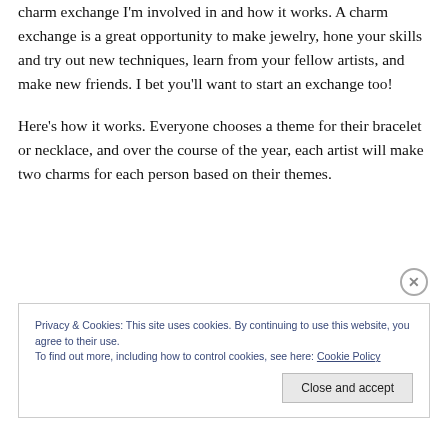charm exchange I'm involved in and how it works. A charm exchange is a great opportunity to make jewelry, hone your skills and try out new techniques, learn from your fellow artists, and make new friends. I bet you'll want to start an exchange too!
Here's how it works. Everyone chooses a theme for their bracelet or necklace, and over the course of the year, each artist will make two charms for each person based on their themes.
Privacy & Cookies: This site uses cookies. By continuing to use this website, you agree to their use.
To find out more, including how to control cookies, see here: Cookie Policy